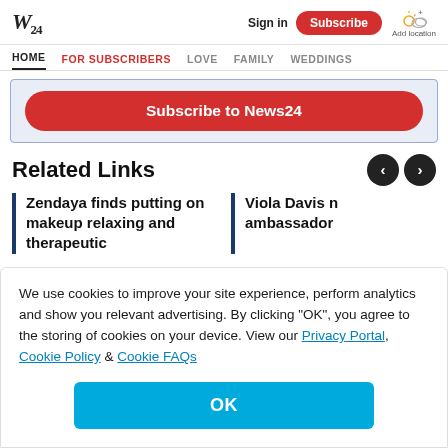W24 | Sign in | Subscribe | Add location
HOME | FOR SUBSCRIBERS | LOVE | FAMILY | WEDDINGS
Subscribe to News24
Related Links
Zendaya finds putting on makeup relaxing and therapeutic
Viola Davis n ambassador
We use cookies to improve your site experience, perform analytics and show you relevant advertising. By clicking "OK", you agree to the storing of cookies on your device. View our Privacy Portal, Cookie Policy & Cookie FAQs
OK